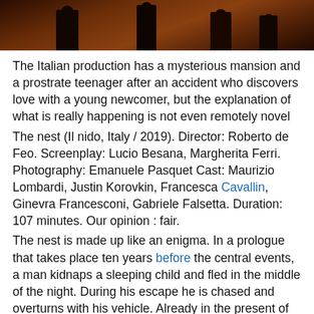[Figure (photo): Dark atmospheric photo of silhouetted figures in an outdoor setting with warm brownish-orange tones]
The Italian production has a mysterious mansion and a prostrate teenager after an accident who discovers love with a young newcomer, but the explanation of what is really happening is not even remotely novel
The nest (Il nido, Italy / 2019). Director: Roberto de Feo. Screenplay: Lucio Besana, Margherita Ferri. Photography: Emanuele Pasquet Cast: Maurizio Lombardi, Justin Korovkin, Francesca Cavallin, Ginevra Francesconi, Gabriele Falsetta. Duration: 107 minutes. Our opinion : fair.
The nest is made up like an enigma. In a prologue that takes place ten years before the central events, a man kidnaps a sleeping child and fled in the middle of the night. During his escape he is chased and overturns with his vehicle. Already in the present of the story, which looks as if on Instagram there was a